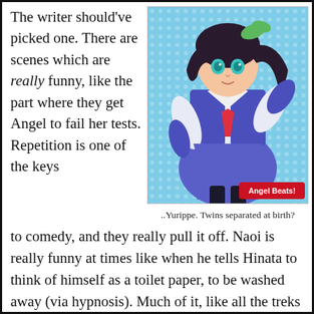The writer should've picked one. There are scenes which are really funny, like the part where they get Angel to fail her tests. Repetition is one of the keys
[Figure (illustration): Anime-style illustration of a female character in a blue school uniform with a red necktie and dark thigh-high stockings, with teal eyes and long dark hair, with 'Angel Beats!' logo in the lower right corner]
..Yurippe. Twins separated at birth?
to comedy, and they really pull it off. Naoi is really funny at times like when he tells Hinata to think of himself as a toilet paper, to be washed away (via hypnosis). Much of it, like all the treks down to Guild are just stupid and disjointed, and are more fitting for an episode you watch one of